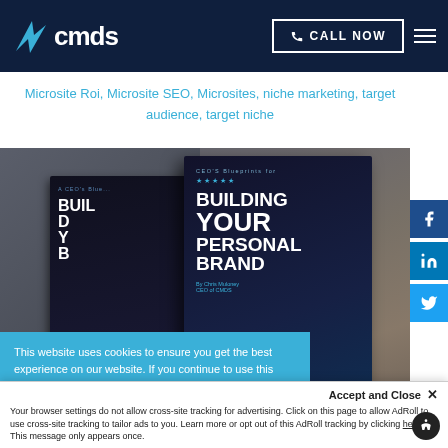CMDS — CALL NOW
Microsite Roi, Microsite SEO, Microsites, niche marketing, target audience, target niche
[Figure (photo): Book titled 'A CEO's Blueprints for Building Your Personal Brand' by Chris Muloney, CEO of CMDS, shown with a man in background]
This website uses cookies to ensure you get the best experience on our website. If you continue to use this site, you consent to our use of cookies. View updated Privacy Policy
Accept and Close ✕
Your browser settings do not allow cross-site tracking for advertising. Click on this page to allow AdRoll to use cross-site tracking to tailor ads to you. Learn more or opt out of this AdRoll tracking by clicking here. This message only appears once.